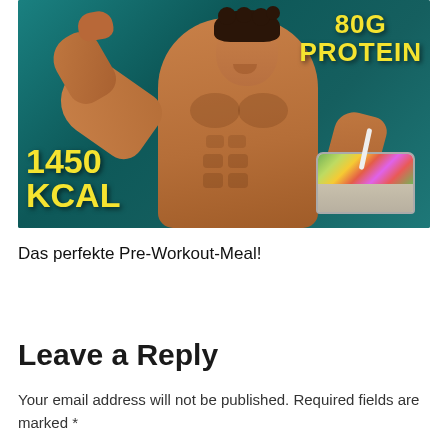[Figure (photo): A muscular shirtless man flexing his left arm and holding a food container/meal prep box with colorful food. Text overlays in bold yellow read '80G PROTEIN' in top right and '1450 KCAL' in bottom left. Background is teal/dark green.]
Das perfekte Pre-Workout-Meal!
Leave a Reply
Your email address will not be published. Required fields are marked *